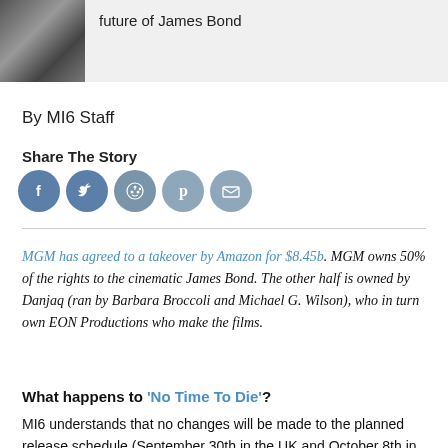[Figure (photo): Partial view of a person's face/shoulder in black and white photo on a grey banner]
future of James Bond
By MI6 Staff
Share The Story
[Figure (infographic): Row of five social media share buttons: Facebook, Twitter, Reddit, Pinterest, Email]
MGM has agreed to a takeover by Amazon for $8.45b. MGM owns 50% of the rights to the cinematic James Bond. The other half is owned by Danjaq (ran by Barbara Broccoli and Michael G. Wilson), who in turn own EON Productions who make the films.
What happens to 'No Time To Die'?
MI6 understands that no changes will be made to the planned release schedule (September 30th in the UK and October 8th in the USA) through the existing